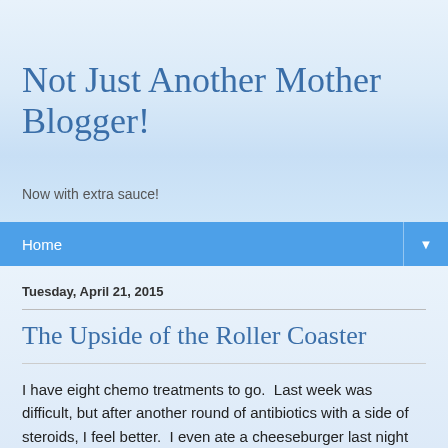Not Just Another Mother Blogger!
Now with extra sauce!
Home
Tuesday, April 21, 2015
The Upside of the Roller Coaster
I have eight chemo treatments to go.  Last week was difficult, but after another round of antibiotics with a side of steroids, I feel better.  I even ate a cheeseburger last night for dinner, not only because I was hungry for one, but because I was